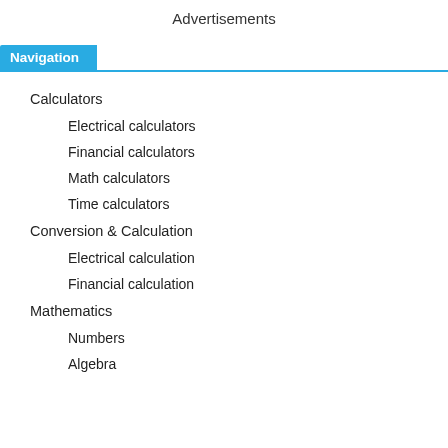Advertisements
Navigation
Calculators
Electrical calculators
Financial calculators
Math calculators
Time calculators
Conversion & Calculation
Electrical calculation
Financial calculation
Mathematics
Numbers
Algebra